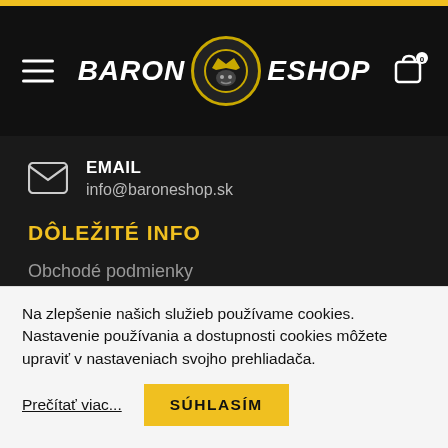BARON ESHOP
EMAIL
info@baroneshop.sk
DÔLEŽITÉ INFO
Obchodé podmienky
Reklamačný poriadok
Ochrana osobných údajov
Na zlepšenie našich služieb používame cookies. Nastavenie používania a dostupnosti cookies môžete upraviť v nastaveniach svojho prehliadača.
Prečítať viac...
SÚHLASÍM